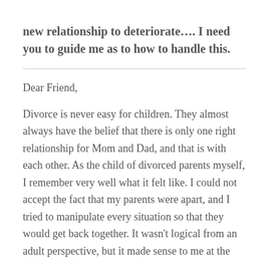new relationship to deteriorate.... I need you to guide me as to how to handle this.
Dear Friend,
Divorce is never easy for children. They almost always have the belief that there is only one right relationship for Mom and Dad, and that is with each other. As the child of divorced parents myself, I remember very well what it felt like. I could not accept the fact that my parents were apart, and I tried to manipulate every situation so that they would get back together. It wasn't logical from an adult perspective, but it made sense to me at the